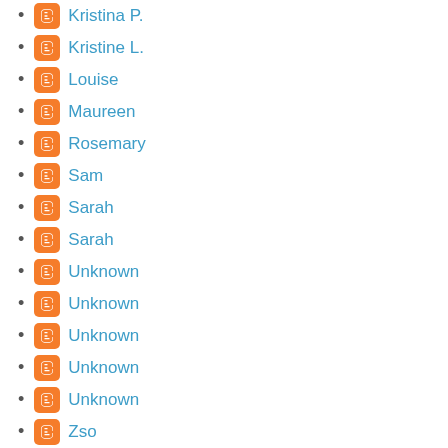Kristina P.
Kristine L.
Louise
Maureen
Rosemary
Sam
Sarah
Sarah
Unknown
Unknown
Unknown
Unknown
Unknown
Zso
david hansen
froddard